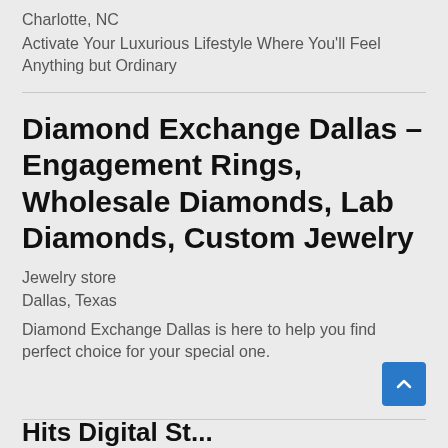Charlotte, NC
Activate Your Luxurious Lifestyle Where You'll Feel Anything but Ordinary
Diamond Exchange Dallas – Engagement Rings, Wholesale Diamonds, Lab Diamonds, Custom Jewelry
Jewelry store
Dallas, Texas
Diamond Exchange Dallas is here to help you find perfect choice for your special one.
Hits Digital St...